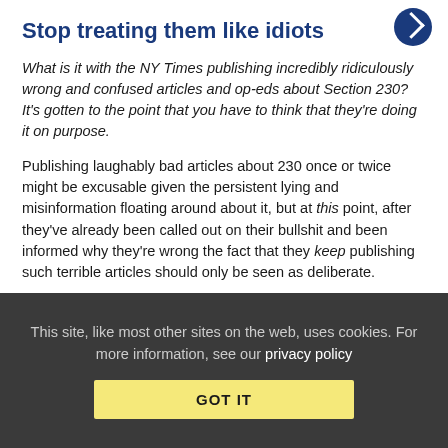Stop treating them like idiots
What is it with the NY Times publishing incredibly ridiculously wrong and confused articles and op-eds about Section 230? It's gotten to the point that you have to think that they're doing it on purpose.
Publishing laughably bad articles about 230 once or twice might be excusable given the persistent lying and misinformation floating around about it, but at this point, after they've already been called out on their bullshit and been informed why they're wrong the fact that they keep publishing such terrible articles should only be seen as deliberate.
They are big boys and girls who are working for what I'm sure would claim to be a serious source of accurate news, if they keep
This site, like most other sites on the web, uses cookies. For more information, see our privacy policy
GOT IT